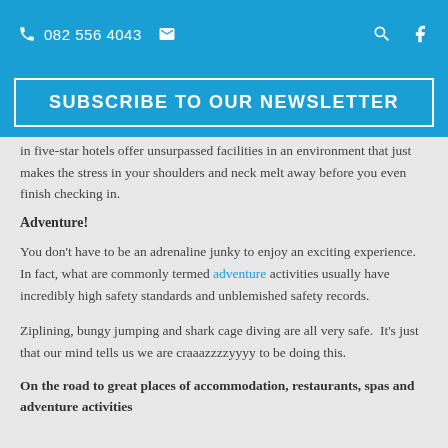082 556 4043
SUBSCRIBE TO OUR NEWSLETTER
in five-star hotels offer unsurpassed facilities in an environment that just makes the stress in your shoulders and neck melt away before you even finish checking in.
Adventure!
You don't have to be an adrenaline junky to enjoy an exciting experience. In fact, what are commonly termed adventure activities usually have incredibly high safety standards and unblemished safety records.
Ziplining, bungy jumping and shark cage diving are all very safe. It's just that our mind tells us we are craaazzzzyyyy to be doing this.
On the road to great places of accommodation, restaurants, spas and adventure activities